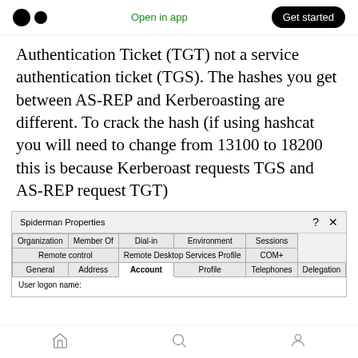Open in app | Get started
Authentication Ticket (TGT) not a service authentication ticket (TGS). The hashes you get between AS-REP and Kerberoasting are different. To crack the hash (if using hashcat you will need to change from 13100 to 18200 this is because Kerberoast requests TGS and AS-REP request TGT)
[Figure (screenshot): Windows dialog box titled 'Spiderman Properties' showing tabs: Organization, Member Of, Dial-in, Environment, Sessions, Remote control, Remote Desktop Services Profile, COM+, General, Address, Account (active), Profile, Telephones, Delegation. Below shows 'User logon name:' field.]
Home | Search | Profile navigation icons